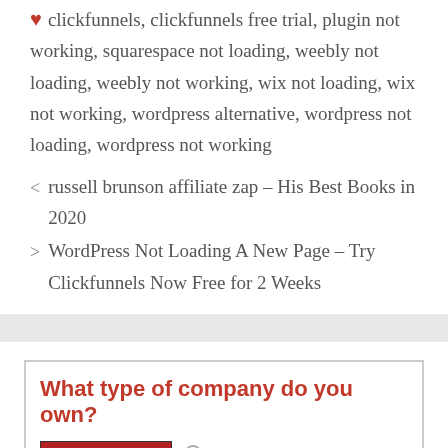clickfunnels, clickfunnels free trial, plugin not working, squarespace not loading, weebly not loading, weebly not working, wix not loading, wix not working, wordpress alternative, wordpress not loading, wordpress not working
< russell brunson affiliate zap – His Best Books in 2020
> WordPress Not Loading A New Page – Try Clickfunnels Now Free for 2 Weeks
[Figure (infographic): Advertisement box with red bold heading 'What type of company do you own?' with a book cover image on the left and radio button options 'a) author / speaker' and 'b) consultant' on the right]